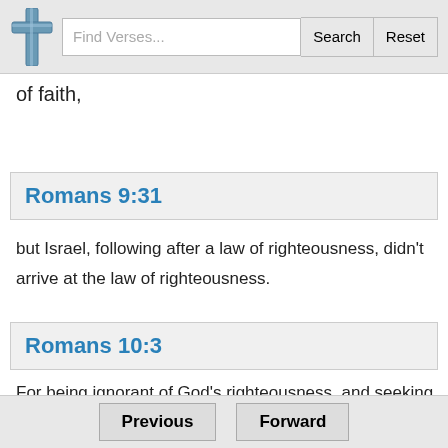Find Verses... Search Reset
of faith,
Romans 9:31
but Israel, following after a law of righteousness, didn't arrive at the law of righteousness.
Romans 10:3
For being ignorant of God's righteousness, and seeking to establish their own righteousness, they didn't subject themselves to the righteousness of God.
Previous Forward